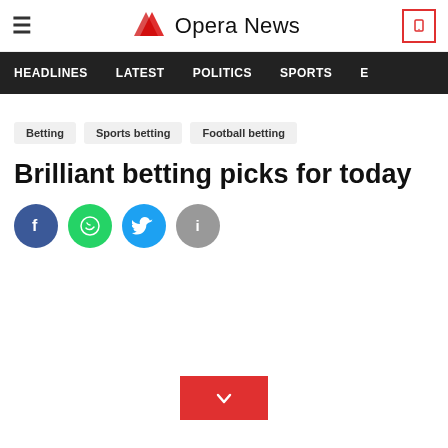Opera News
HEADLINES   LATEST   POLITICS   SPORTS
Betting
Sports betting
Football betting
Brilliant betting picks for today
[Figure (other): Social share icons: Facebook, WhatsApp, Twitter, Info]